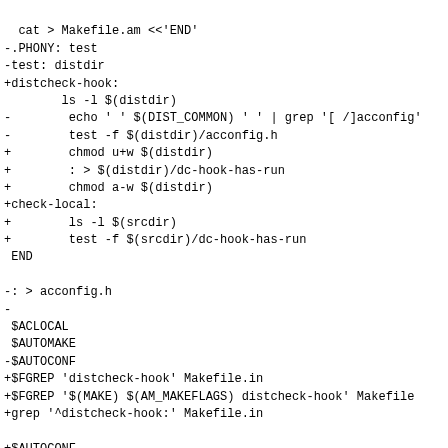cat > Makefile.am <<'END'
-.PHONY: test
-test: distdir
+distcheck-hook:
        ls -l $(distdir)
-        echo ' ' $(DIST_COMMON) ' ' | grep '[ /]acconfig'
-        test -f $(distdir)/acconfig.h
+        chmod u+w $(distdir)
+        : > $(distdir)/dc-hook-has-run
+        chmod a-w $(distdir)
+check-local:
+        ls -l $(srcdir)
+        test -f $(srcdir)/dc-hook-has-run
 END

-: > acconfig.h
-
 $ACLOCAL
 $AUTOMAKE
-$AUTOCONF
+$FGREP 'distcheck-hook' Makefile.in
+$FGREP '$(MAKE) $(AM_MAKEFLAGS) distcheck-hook' Makefile
+grep '^distcheck-hook:' Makefile.in

+$AUTOCONF
 ./configure
-$MAKE test
+
+$MAKE